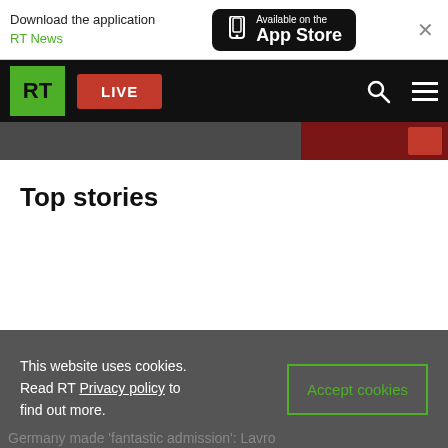Download the application RT News — Available on the App Store
[Figure (screenshot): RT website navigation bar with green RT logo, red LIVE button, search icon, and hamburger menu on black background]
Top stories
This website uses cookies. Read RT Privacy policy to find out more. Accept cookies